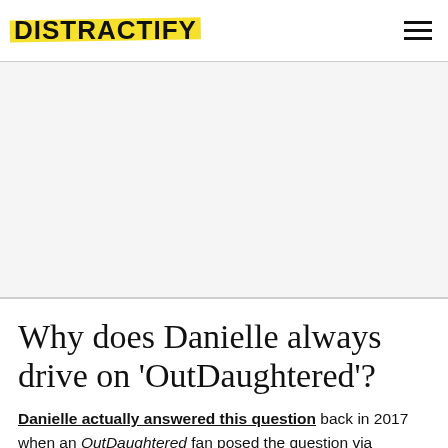DISTRACTIFY
[Figure (other): White/light gray advertisement placeholder area]
Why does Danielle always drive on 'OutDaughtered'?
Danielle actually answered this question back in 2017 when an OutDaughtered fan posed the question via